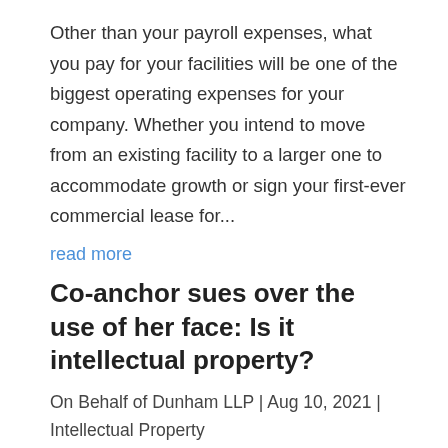Other than your payroll expenses, what you pay for your facilities will be one of the biggest operating expenses for your company. Whether you intend to move from an existing facility to a larger one to accommodate growth or sign your first-ever commercial lease for...
read more
Co-anchor sues over the use of her face: Is it intellectual property?
On Behalf of Dunham LLP | Aug 10, 2021 | Intellectual Property
Here is an excellent question: Is a person's